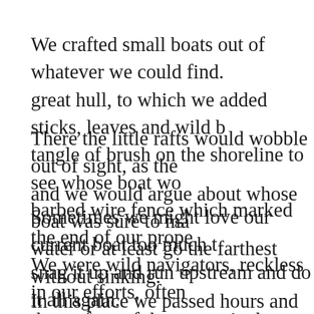We crafted small boats out of whatever we could find. great hull, to which we added sticks, leaves and wild b tangle of brush on the shoreline to see whose boat wo barbed wire fence which marked the end of our prope
There the little rafts would wobble out of sight, as the and we would argue about whose boat was sure to ma water or at least go the farthest without sinking.
Sometimes we might love our current boat too much t snag it up and run upstream and do it all again.
We were wild navigators, reckless in our efforts, often the surface of the water. And, almost always, we woul from head to toe.
In this place we passed hours and days and even entir
I can on the thick browse like a hollow to in